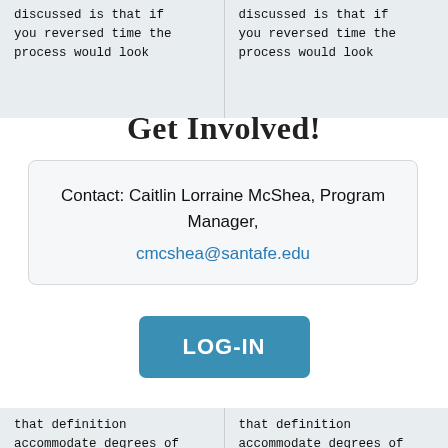discussed is that if you reversed time the process would look
discussed is that if you reversed time the process would look
Get Involved!
Contact: Caitlin Lorraine McShea, Program Manager, cmcshea@santafe.edu
LOG-IN
that definition accommodate degrees of irreversibility, e.g. looking backwards involves changes less likely to happen? This fits in what Priyanga talked about with adaptation to
that definition accommodate degrees of irreversibility, e.g. looking backwards involves changes less likely to happen? This fits in what Priyanga talked about with adaptation to